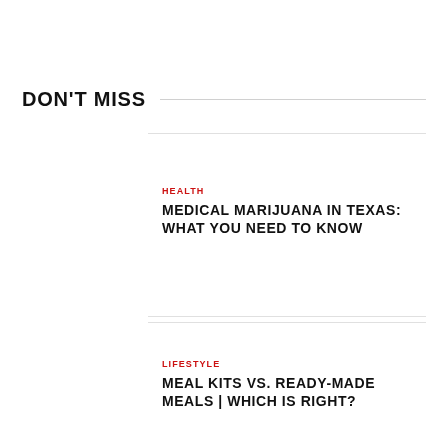DON'T MISS
HEALTH
MEDICAL MARIJUANA IN TEXAS: WHAT YOU NEED TO KNOW
LIFESTYLE
MEAL KITS VS. READY-MADE MEALS | WHICH IS RIGHT?